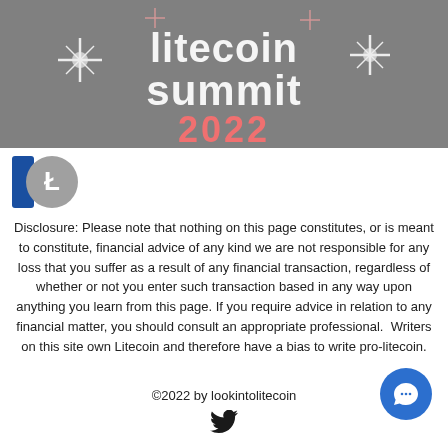[Figure (illustration): Litecoin Summit 2022 banner image with decorative sparkle elements and pink/white lettering on dark gray background]
[Figure (logo): Litecoin logo: blue vertical rectangle with gray circle containing white L symbol]
Disclosure: Please note that nothing on this page constitutes, or is meant to constitute, financial advice of any kind we are not responsible for any loss that you suffer as a result of any financial transaction, regardless of whether or not you enter such transaction based in any way upon anything you learn from this page. If you require advice in relation to any financial matter, you should consult an appropriate professional.  Writers on this site own Litecoin and therefore have a bias to write pro-litecoin.
©2022 by lookintolitecoin
[Figure (illustration): Twitter bird icon in black]